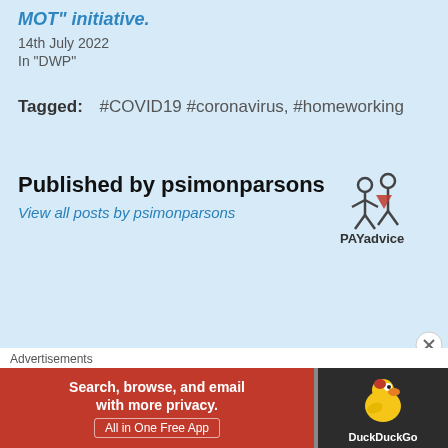MOT" initiative.
14th July 2022
In "DWP"
Tagged:  #COVID19 #coronavirus,  #homeworking
Published by psimonparsons
View all posts by psimonparsons
[Figure (logo): PAYadvice logo with two stylized figures and text 'PAYadvice']
Advertisements
[Figure (photo): DuckDuckGo advertisement banner: 'Search, browse, and email with more privacy. All in One Free App' with DuckDuckGo duck logo on dark background]